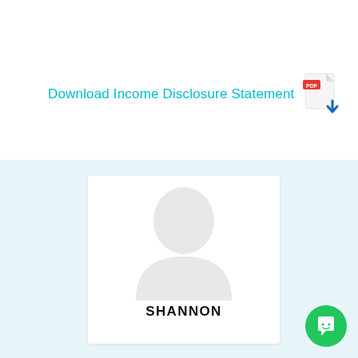Download Income Disclosure Statement
[Figure (illustration): PDF download icon with red PDF label and blue download arrow]
[Figure (photo): Profile avatar placeholder image — light gray silhouette of a person on white background]
SHANNON
[Figure (illustration): Green circular chat/messaging button with white chat bubble icon]